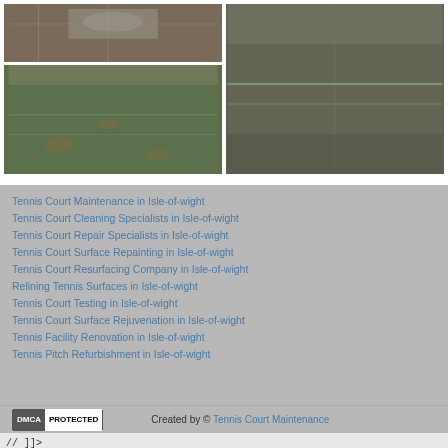[Figure (photo): Two tennis court surface photos arranged in a 2x2 grid on the left, showing court surfaces with green markings and autumn leaves. One large photo on the right showing a wet/dark tennis court surface.]
Tennis Court Maintenance in Isle-of-wight
Tennis Court Cleaning Specialists in Isle-of-wight
Tennis Court Repair Specialists in Isle-of-wight
Tennis Court Surface Repainting in Isle-of-wight
Tennis Court Resurfacing Company in Isle-of-wight
Relining Tennis Surfaces in Isle-of-wight
Tennis Court Testing in Isle-of-wight
Tennis Court Surface Rejuvenation in Isle-of-wight
Tennis Facility Renovation in Isle-of-wight
Tennis Pitch Refurbishment in Isle-of-wight
DMCA PROTECTED   Created by © Tennis Court Maintenance
// ]]>